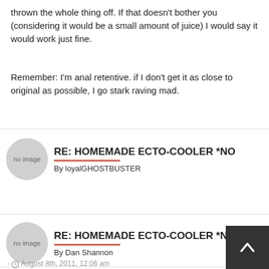thrown the whole thing off. If that doesn't bother you (considering it would be a small amount of juice) I would say it would work just fine.
Remember: I'm anal retentive. if I don't get it as close to original as possible, I go stark raving mad.
RE: HOMEMADE ECTO-COOLER *NO
By loyalGHOSTBUSTER
- June 25th, 2011, 7:44 pm   #330317
Thanks alot for this dan 😀
RE: HOMEMADE ECTO-COOLER *NO
By Dan Shannon
- August 8th, 2011, 12:06 am   #338150